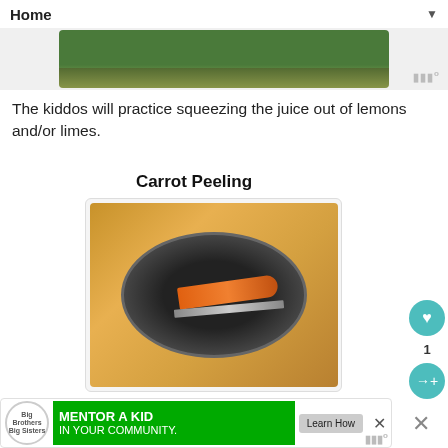Home ▼
[Figure (photo): Partial top image showing green outdoor/nature scene]
The kiddos will practice squeezing the juice out of lemons and/or limes.
Carrot Peeling
[Figure (photo): Photo of a peeled carrot and a peeler on a decorative silver platter on a wooden surface]
The kiddos will practice peeling a carrot.
[Figure (infographic): Advertisement banner: Big Brothers Big Sisters - MENTOR A KID IN YOUR COMMUNITY. Learn How button.]